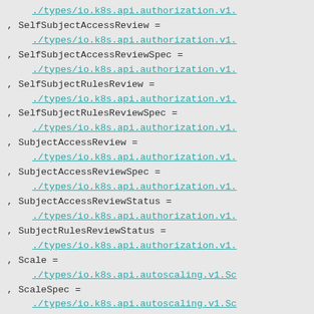./types/io.k8s.api.authorization.v1.
, SelfSubjectAccessReview =
./types/io.k8s.api.authorization.v1.
, SelfSubjectAccessReviewSpec =
./types/io.k8s.api.authorization.v1.
, SelfSubjectRulesReview =
./types/io.k8s.api.authorization.v1.
, SelfSubjectRulesReviewSpec =
./types/io.k8s.api.authorization.v1.
, SubjectAccessReview =
./types/io.k8s.api.authorization.v1.
, SubjectAccessReviewSpec =
./types/io.k8s.api.authorization.v1.
, SubjectAccessReviewStatus =
./types/io.k8s.api.authorization.v1.
, SubjectRulesReviewStatus =
./types/io.k8s.api.authorization.v1.
, Scale =
./types/io.k8s.api.autoscaling.v1.Sc
, ScaleSpec =
./types/io.k8s.api.autoscaling.v1.Sc
, ScaleStatus